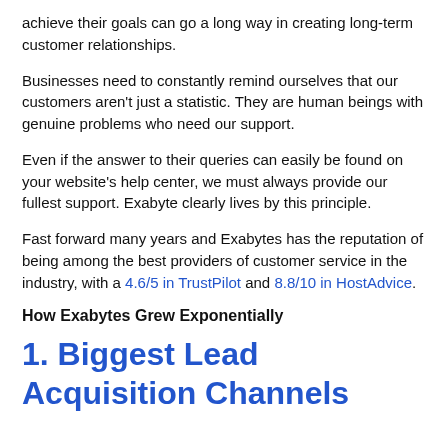achieve their goals can go a long way in creating long-term customer relationships.
Businesses need to constantly remind ourselves that our customers aren't just a statistic. They are human beings with genuine problems who need our support.
Even if the answer to their queries can easily be found on your website's help center, we must always provide our fullest support. Exabyte clearly lives by this principle.
Fast forward many years and Exabytes has the reputation of being among the best providers of customer service in the industry, with a 4.6/5 in TrustPilot and 8.8/10 in HostAdvice.
How Exabytes Grew Exponentially
1. Biggest Lead Acquisition Channels